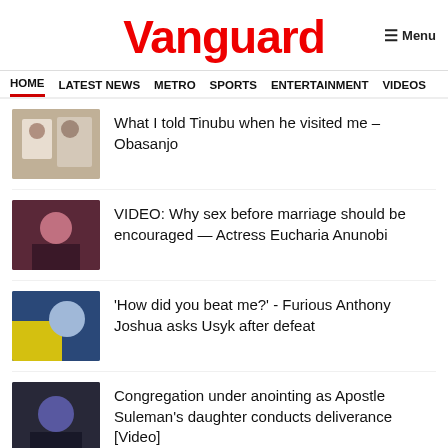Vanguard
HOME
LATEST NEWS
METRO
SPORTS
ENTERTAINMENT
VIDEOS
What I told Tinubu when he visited me – Obasanjo
VIDEO: Why sex before marriage should be encouraged — Actress Eucharia Anunobi
'How did you beat me?' - Furious Anthony Joshua asks Usyk after defeat
Congregation under anointing as Apostle Suleman's daughter conducts deliverance [Video]
[Video] Obasanjo gives verdict on Tinubu's 'emilokan'